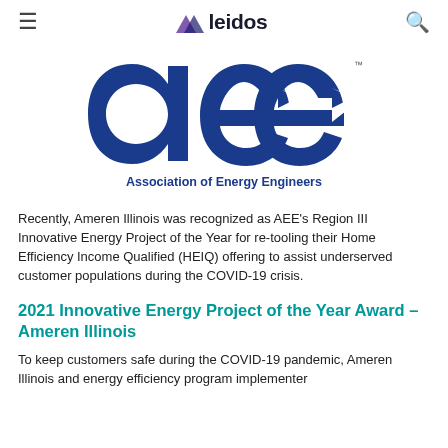leidos
[Figure (logo): AEE (Association of Energy Engineers) logo — large blue stylized letters 'aee' with arrow motifs, followed by text 'Association of Energy Engineers' in bold blue below]
Recently, Ameren Illinois was recognized as AEE's Region III Innovative Energy Project of the Year for re-tooling their Home Efficiency Income Qualified (HEIQ) offering to assist underserved customer populations during the COVID-19 crisis.
2021 Innovative Energy Project of the Year Award – Ameren Illinois
To keep customers safe during the COVID-19 pandemic, Ameren Illinois and energy efficiency program implementer